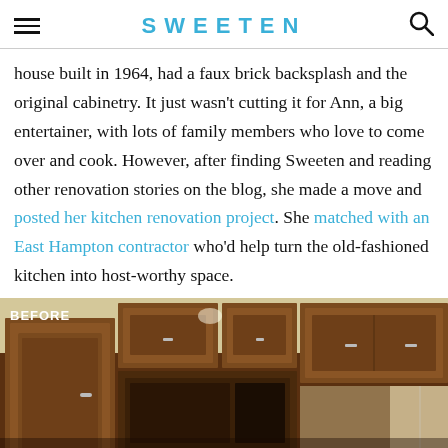SWEETEN
house built in 1964, had a faux brick backsplash and the original cabinetry. It just wasn't cutting it for Ann, a big entertainer, with lots of family members who love to come over and cook. However, after finding Sweeten and reading other renovation stories on the blog, she made a move and posted her kitchen renovation project. She matched with an East Hampton contractor who'd help turn the old-fashioned kitchen into host-worthy space.
[Figure (photo): Before photo of an old-fashioned kitchen with dark wood cabinetry, labeled BEFORE in white text on the upper left.]